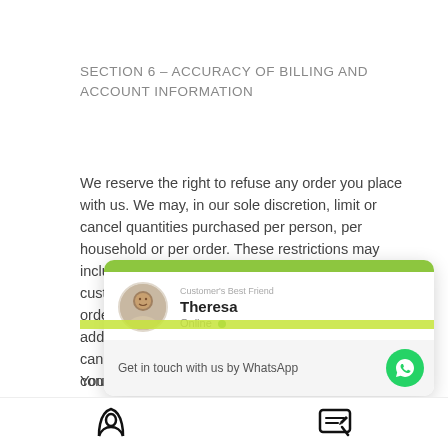SECTION 6 – ACCURACY OF BILLING AND ACCOUNT INFORMATION
We reserve the right to refuse any order you place with us. We may, in our sole discretion, limit or cancel quantities purchased per person, per household or per order. These restrictions may include orders placed by or under the same customer account, the same credit card, and/or orders that use the same billing and/or shipping address. In the event that we make a change to or cancel an order, we may attempt to notify you by contacting the e-mail and/or billing address/phone number provided at the time the order was made. We reserve the right to limit or prohibit orders that, in our sole judgment, appear to be placed by dealers, resellers or d
You agree to provide current, c… purchase and account informa…
[Figure (screenshot): WhatsApp customer support widget showing agent 'Theresa' (Customer's Best Friend) with Online status and a 'Get in touch with us by WhatsApp' button]